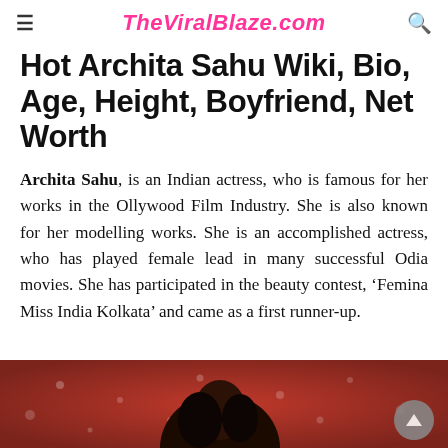TheViralBlaze.com
Hot Archita Sahu Wiki, Bio, Age, Height, Boyfriend, Net Worth
Archita Sahu, is an Indian actress, who is famous for her works in the Ollywood Film Industry. She is also known for her modelling works. She is an accomplished actress, who has played female lead in many successful Odia movies. She has participated in the beauty contest, ‘Femina Miss India Kolkata’ and came as a first runner-up.
[Figure (photo): Photo of Archita Sahu at an event, red background with bokeh lights, woman with dark hair visible at bottom of image]